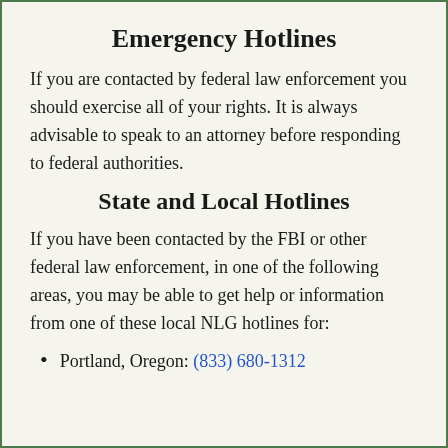Emergency Hotlines
If you are contacted by federal law enforcement you should exercise all of your rights. It is always advisable to speak to an attorney before responding to federal authorities.
State and Local Hotlines
If you have been contacted by the FBI or other federal law enforcement, in one of the following areas, you may be able to get help or information from one of these local NLG hotlines for:
Portland, Oregon: (833) 680-1312